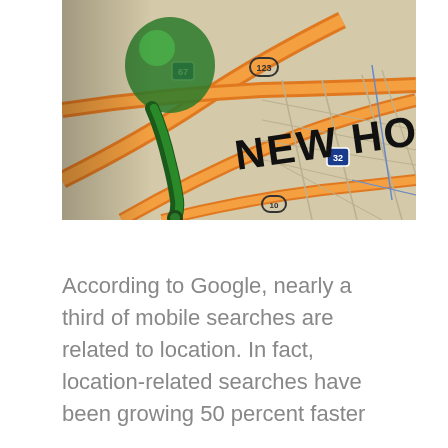[Figure (photo): A green map pin/pushpin stuck into a street map, with bold text 'NEW HOME' overlaid on the map. The map shows orange roads and street grid lines with highway markers (67, 123, 32, 10).]
According to Google, nearly a third of mobile searches are related to location. In fact, location-related searches have been growing 50 percent faster